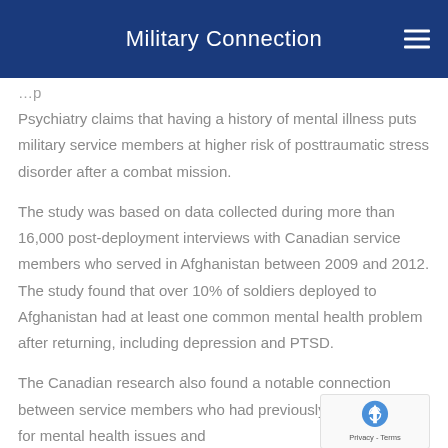Military Connection
Psychiatry claims that having a history of mental illness puts military service members at higher risk of posttraumatic stress disorder after a combat mission.
The study was based on data collected during more than 16,000 post-deployment interviews with Canadian service members who served in Afghanistan between 2009 and 2012. The study found that over 10% of soldiers deployed to Afghanistan had at least one common mental health problem after returning, including depression and PTSD.
The Canadian research also found a notable connection between service members who had previously been treated for mental health issues and